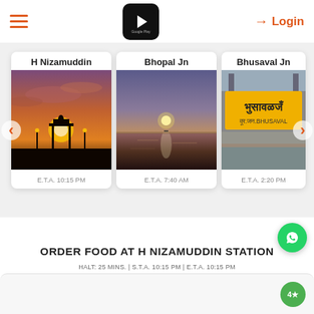≡  [Google Play Logo]  Login
[Figure (photo): Station card: H Nizamuddin - photo of India Gate silhouette at sunset with orange sky. E.T.A. 10:15 PM]
[Figure (photo): Station card: Bhopal Jn - photo of water body at sunset. E.T.A. 7:40 AM]
[Figure (photo): Station card: Bhusaval Jn - photo of railway station sign board in Marathi/English. E.T.A. 2:20 PM]
ORDER FOOD AT H NIZAMUDDIN STATION
HALT: 25 MINS. | S.T.A. 10:15 PM | E.T.A. 10:15 PM